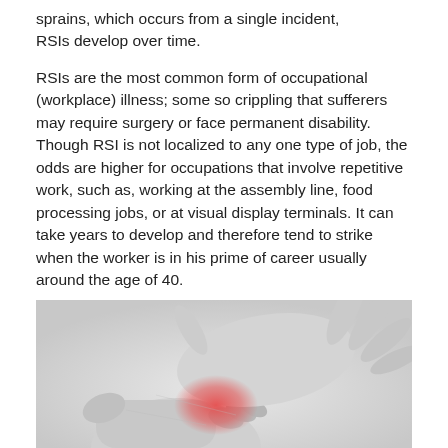sprains, which occurs from a single incident, RSIs develop over time.
RSIs are the most common form of occupational (workplace) illness; some so crippling that sufferers may require surgery or face permanent disability. Though RSI is not localized to any one type of job, the odds are higher for occupations that involve repetitive work, such as, working at the assembly line, food processing jobs, or at visual display terminals. It can take years to develop and therefore tend to strike when the worker is in his prime of career usually around the age of 40.
[Figure (photo): Black and white photo of two hands, one hand gripping the wrist of the other hand, with a red/pink highlight on the wrist area indicating pain from repetitive strain injury.]